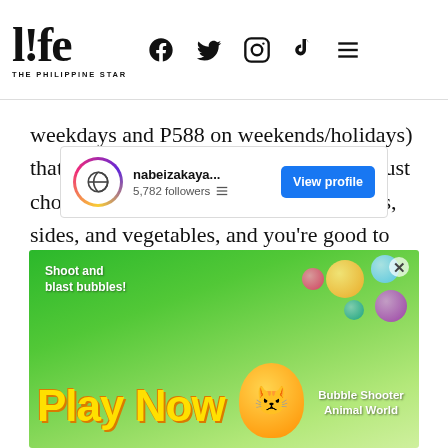life THE PHILIPPINE STAR
weekdays and P588 on weekends/holidays) that's sure to make your tummy happy. Just choose your soup base, meats, appetizers, sides, and vegetables, and you're good to go.
The best part? You may even upgrade your meal for P288 to get unlimited servings of fried chicken wings, California maki, Angus beef, menchi katsu, and mixed tempura.
[Figure (screenshot): Instagram widget showing nabeizakaya... account with 5,782 followers and a View profile button]
[Figure (photo): Advertisement banner reading 'Shoot and blast bubbles! Play Now - Bubble Shooter Animal World']